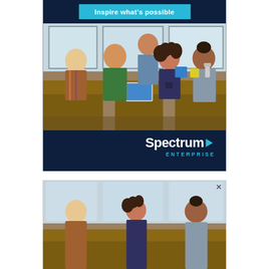Inspire what's possible
[Figure (photo): Students gathered around a wooden lab table in a classroom, looking at a tablet device together. Multiple students of different ethnicities engaged in collaborative learning.]
[Figure (logo): Spectrum Enterprise logo with cyan arrow and text]
[Figure (photo): Second instance of classroom photo showing students collaborating, partially visible with close button]